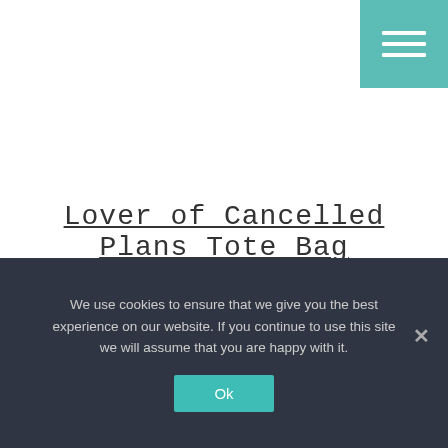[Figure (other): Teal/green hamburger menu button in top-right corner with three white horizontal lines]
Lover of Cancelled Plans Tote Bag
We use cookies to ensure that we give you the best experience on our website. If you continue to use this site we will assume that you are happy with it.
Ok